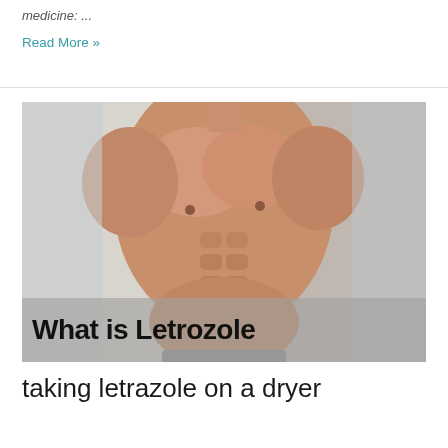medicine: ...
Read More »
[Figure (photo): Muscular male torso showing defined abdominal and chest muscles against a light background, with overlaid text 'What is Letrozole']
taking letrazole on a dryer
Steroids / By hydromarine